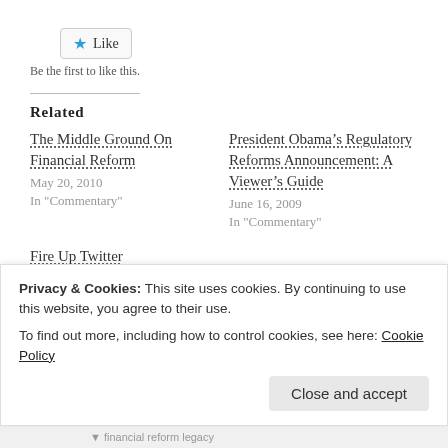[Figure (other): Like button with blue star icon]
Be the first to like this.
Related
The Middle Ground On Financial Reform
May 20, 2010
In "Commentary"
President Obama’s Regulatory Reforms Announcement: A Viewer’s Guide
June 16, 2009
In "Commentary"
Fire Up Twitter
May 19, 2010
In "Commentary"
Privacy & Cookies: This site uses cookies. By continuing to use this website, you agree to their use.
To find out more, including how to control cookies, see here: Cookie Policy
Close and accept
financial reform legacy